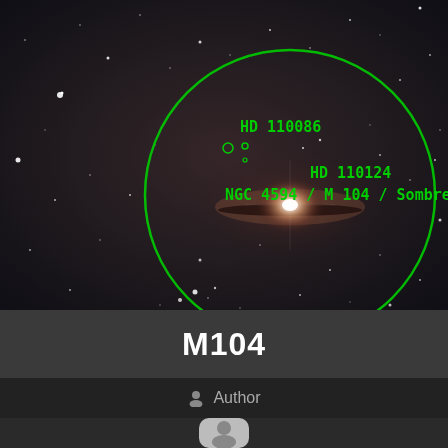[Figure (photo): Astronomical photograph of the Sombrero Galaxy (NGC 4594 / M 104) with green circle overlay and green text labels identifying HD 110086, HD 110124, and NGC 4594 / M 104 / Sombrero galaxy. Dark starfield background with bright galaxy core visible.]
M104
Author